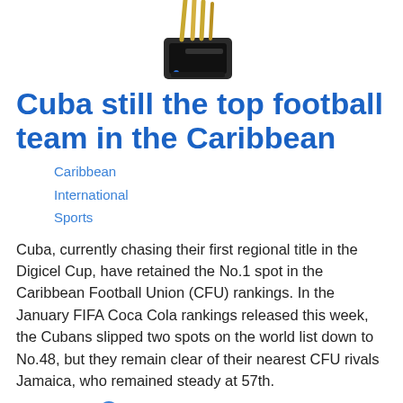[Figure (photo): Photo of a trophy or award device with gold pencils/items sticking out of the top, dark base, viewed at an angle]
Cuba still the top football team in the Caribbean
Caribbean
International
Sports
Cuba, currently chasing their first regional title in the Digicel Cup, have retained the No.1 spot in the Caribbean Football Union (CFU) rankings. In the January FIFA Coca Cola rankings released this week, the Cubans slipped two spots on the world list down to No.48, but they remain clear of their nearest CFU rivals Jamaica, who remained steady at 57th.
Read More